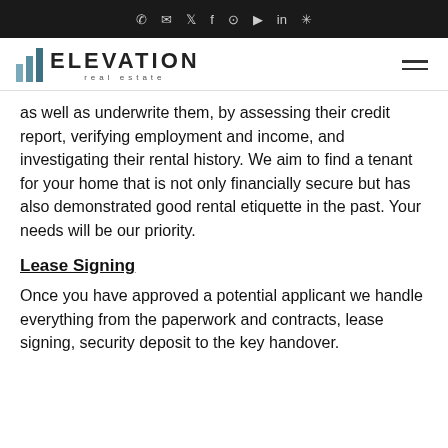Elevation Real Estate — navigation bar with social/contact icons
[Figure (logo): Elevation Real Estate logo with bar chart icon and company name]
as well as underwrite them, by assessing their credit report, verifying employment and income, and investigating their rental history. We aim to find a tenant for your home that is not only financially secure but has also demonstrated good rental etiquette in the past. Your needs will be our priority.
Lease Signing
Once you have approved a potential applicant we handle everything from the paperwork and contracts, lease signing, security deposit to the key handover.